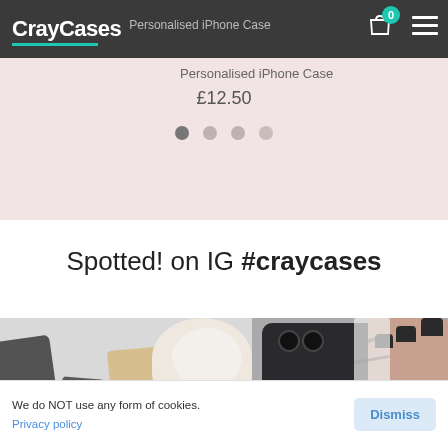[Figure (screenshot): CrayCases website navbar with logo, shopping cart icon with badge showing 0, and hamburger menu on dark grey background]
Personalised iPhone Case
£12.50
[Figure (screenshot): Four dot carousel indicators on pink background, first dot is darker/active]
Spotted! on IG #craycases
[Figure (photo): Two Instagram photos: left shows a flat-lay with dark phone case, wooden block, and white flowers; right shows a hand with dark nails holding a dark iPhone with marbled/white case]
We do NOT use any form of cookies. Privacy policy
Dismiss